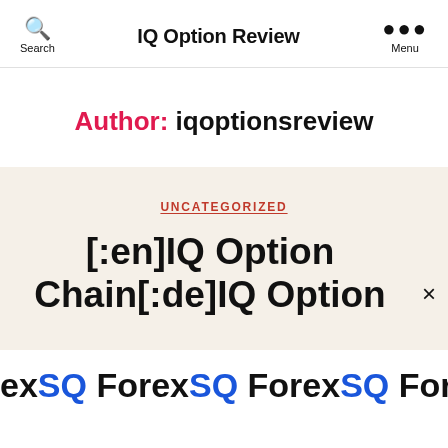IQ Option Review
Author: iqoptionsreview
UNCATEGORIZED
[:en]IQ Option Chain[:de]IQ Option
exSQ ForexSQ ForexSQ ForexSQ F